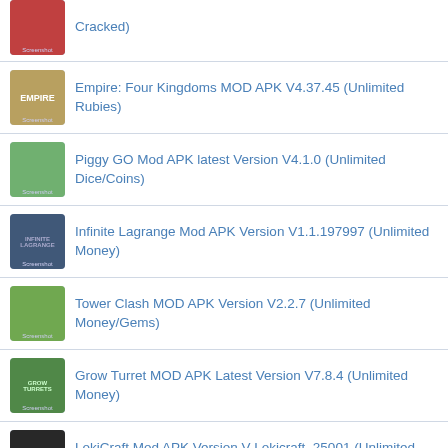Cracked)
Empire: Four Kingdoms MOD APK V4.37.45 (Unlimited Rubies)
Piggy GO Mod APK latest Version V4.1.0 (Unlimited Dice/Coins)
Infinite Lagrange Mod APK Version V1.1.197997 (Unlimited Money)
Tower Clash MOD APK Version V2.2.7 (Unlimited Money/Gems)
Grow Turret MOD APK Latest Version V7.8.4 (Unlimited Money)
LokiCraft Mod APK Version V Lokicraft. 25001 (Unlimited Money)